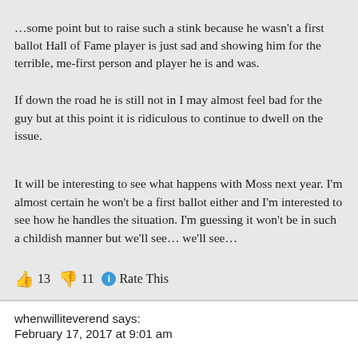…some point but to raise such a stink because he wasn't a first ballot Hall of Fame player is just sad and showing him for the terrible, me-first person and player he is and was.
If down the road he is still not in I may almost feel bad for the guy but at this point it is ridiculous to continue to dwell on the issue.
It will be interesting to see what happens with Moss next year. I'm almost certain he won't be a first ballot either and I'm interested to see how he handles the situation. I'm guessing it won't be in such a childish manner but we'll see… we'll see…
👍 13 👎 11 ℹ Rate This
whenwilliteverend says:
February 17, 2017 at 9:01 am
As long as TO keeps running his mouth, he'll keep waiting to get voted in. Eventually one would think he'd wise up and shut